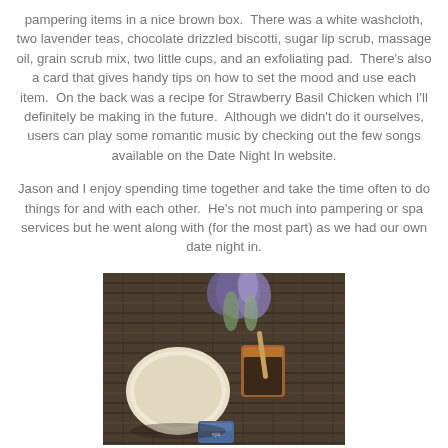pampering items in a nice brown box.  There was a white washcloth, two lavender teas, chocolate drizzled biscotti, sugar lip scrub, massage oil, grain scrub mix, two little cups, and an exfoliating pad.  There's also a card that gives handy tips on how to set the mood and use each item.  On the back was a recipe for Strawberry Basil Chicken which I'll definitely be making in the future.  Although we didn't do it ourselves, users can play some romantic music by checking out the few songs available on the Date Night In website.
Jason and I enjoy spending time together and take the time often to do things for and with each other.  He's not much into pampering or spa services but he went along with (for the most part) as we had our own date night in.
[Figure (photo): Photo of spa/date night items on a woven mat background: a round wooden item, a brown cup with a wooden stick, purple lavender flowers in background, and a small blue packet.]